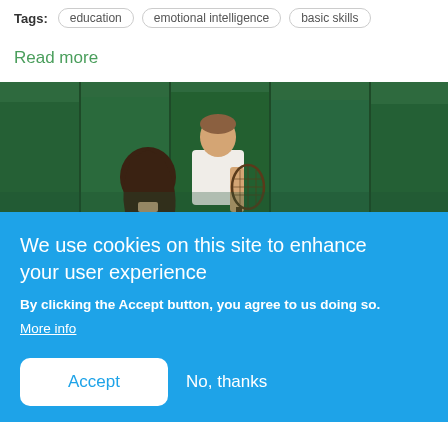Tags: education  emotional intelligence  basic skills
Read more
[Figure (photo): Tennis lesson: a young girl with dark hair faces an adult instructor in a white shirt holding a tennis racket, with a green court backdrop]
We use cookies on this site to enhance your user experience
By clicking the Accept button, you agree to us doing so.
More info
Accept  No, thanks